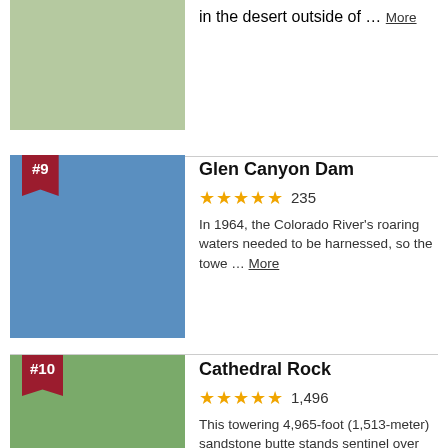[Figure (photo): Two people hiking through tall grassy field]
in the desert outside of … More
[Figure (photo): Glen Canyon Dam aerial view showing the dam wall and blue water of Lake Powell with red rock canyon walls]
Glen Canyon Dam
235 reviews, 5 stars
In 1964, the Colorado River's roaring waters needed to be harnessed, so the towe … More
[Figure (photo): Cathedral Rock red sandstone butte rising above green trees in Sedona]
Cathedral Rock
1,496 reviews, 5 stars
This towering 4,965-foot (1,513-meter) sandstone butte stands sentinel over Se … More